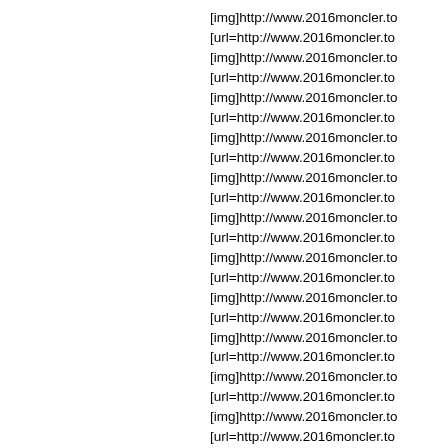[img]http://www.2016moncler.to
[url=http://www.2016moncler.to
[img]http://www.2016moncler.to
[url=http://www.2016moncler.to
[img]http://www.2016moncler.to
[url=http://www.2016moncler.to
[img]http://www.2016moncler.to
[url=http://www.2016moncler.to
[img]http://www.2016moncler.to
[url=http://www.2016moncler.to
[img]http://www.2016moncler.to
[url=http://www.2016moncler.to
[img]http://www.2016moncler.to
[url=http://www.2016moncler.to
[img]http://www.2016moncler.to
[url=http://www.2016moncler.to
[img]http://www.2016moncler.to
[url=http://www.2016moncler.to
[img]http://www.2016moncler.to
[url=http://www.2016moncler.to
[img]http://www.2016moncler.to
[url=http://www.2016moncler.to
[img]http://www.2016moncler.to